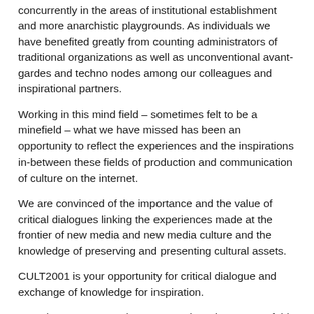concurrently in the areas of institutional establishment and more anarchistic playgrounds. As individuals we have benefited greatly from counting administrators of traditional organizations as well as unconventional avant-gardes and techno nodes among our colleagues and inspirational partners.
Working in this mind field – sometimes felt to be a minefield – what we have missed has been an opportunity to reflect the experiences and the inspirations in-between these fields of production and communication of culture on the internet.
We are convinced of the importance and the value of critical dialogues linking the experiences made at the frontier of new media and new media culture and the knowledge of preserving and presenting cultural assets.
CULT2001 is your opportunity for critical dialogue and exchange of knowledge for inspiration.
To CultureNet Denmark CULT2001 is a chance to unfold the incredible richness of our work field.
And working in this wide field of cultural history and new